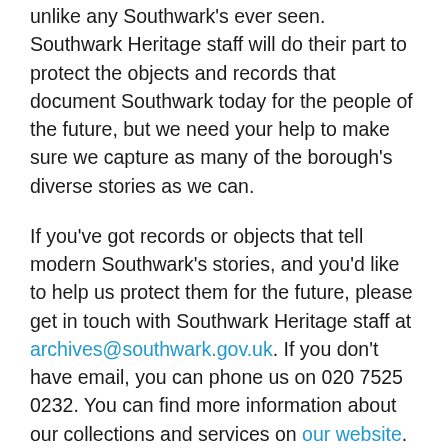unlike any Southwark's ever seen. Southwark Heritage staff will do their part to protect the objects and records that document Southwark today for the people of the future, but we need your help to make sure we capture as many of the borough's diverse stories as we can.
If you've got records or objects that tell modern Southwark's stories, and you'd like to help us protect them for the future, please get in touch with Southwark Heritage staff at archives@southwark.gov.uk. If you don't have email, you can phone us on 020 7525 0232. You can find more information about our collections and services on our website. If you're interested in learning more about the borough's past, keep reading – there's lots more to discover on this blog!